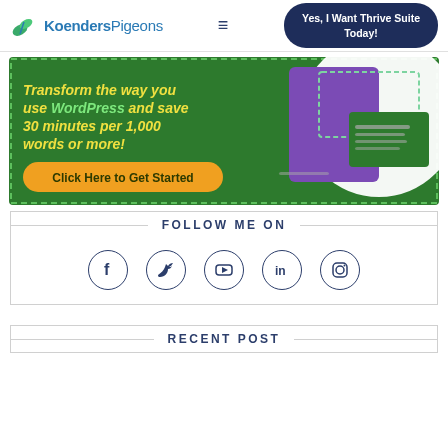Koenders Pigeons — Yes, I Want Thrive Suite Today!
[Figure (screenshot): Green banner ad: 'Transform the way you use WordPress and save 30 minutes per 1,000 words or more!' with orange 'Click Here to Get Started' button and decorative tablet/screen graphics]
FOLLOW ME ON
[Figure (infographic): Row of 5 circular social media icons: Facebook (f), Twitter (bird), YouTube (play button), LinkedIn (in), Instagram (camera)]
RECENT POST